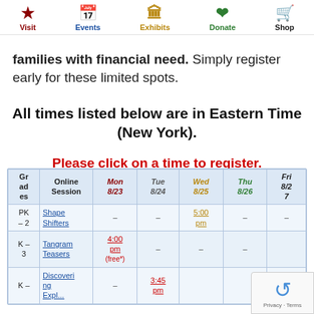Visit | Events | Exhibits | Donate | Shop
families with financial need. Simply register early for these limited spots.
All times listed below are in Eastern Time (New York).
Please click on a time to register.
| Grades | Online Session | Mon 8/23 | Tue 8/24 | Wed 8/25 | Thu 8/26 | Fri 8/27 |
| --- | --- | --- | --- | --- | --- | --- |
| PK – 2 | Shape Shifters | – | – | 5:00 pm | – | – |
| K – 3 | Tangram Teasers | 4:00 pm (free*) | – | – | – |  |
| K – | Discovering | – | 3:45 pm |  |  |  |